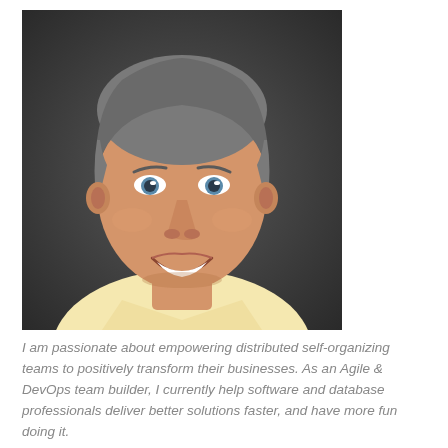[Figure (photo): Professional headshot of a middle-aged man with gray hair, smiling, wearing a light yellow collared shirt, photographed against a dark gray background.]
I am passionate about empowering distributed self-organizing teams to positively transform their businesses. As an Agile & DevOps team builder, I currently help software and database professionals deliver better solutions faster, and have more fun doing it.